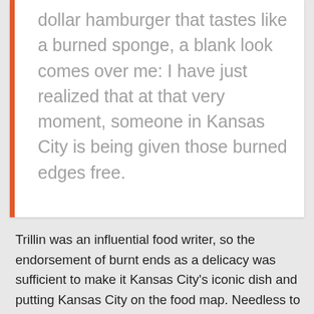dollar hamburger that tastes like a burned sponge, a blank look comes over me: I have just realized that at that very moment, someone in Kansas City is being given those burned edges free.
Trillin was an influential food writer, so the endorsement of burnt ends as a delicacy was sufficient to make it Kansas City's iconic dish and putting Kansas City on the food map. Needless to say, the burnt ends are no longer free.  For the uninitiated, burnt ends are the crisp, charred, fatty ends of the brisket, too short for slicing, that are chopped into chunks and doused in